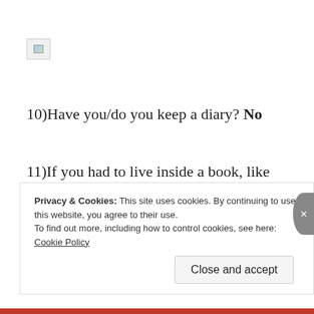[Figure (other): Broken/missing image placeholder icon in top-left area]
10)Have you/do you keep a diary? No
11)If you had to live inside a book, like literally exist inside the world of a book, which one (or which series) would you live in and why?
Privacy & Cookies: This site uses cookies. By continuing to use this website, you agree to their use.
To find out more, including how to control cookies, see here: Cookie Policy
Close and accept